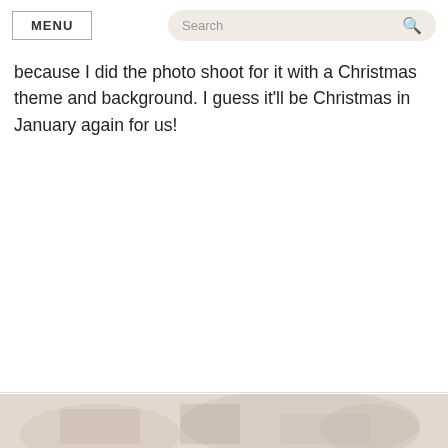MENU | Search
because I did the photo shoot for it with a Christmas theme and background. I guess it'll be Christmas in January again for us!
[Figure (photo): Bottom portion of a photo showing a warm-toned scene with Christmas/craft items on a table, partially visible at the bottom of the page.]